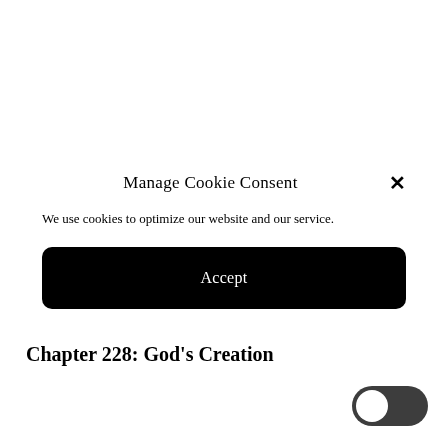Manage Cookie Consent
We use cookies to optimize our website and our service.
Accept
Chapter 228: God’s Creation
[Figure (illustration): Dark mode toggle switch with moon icon, positioned at bottom right]